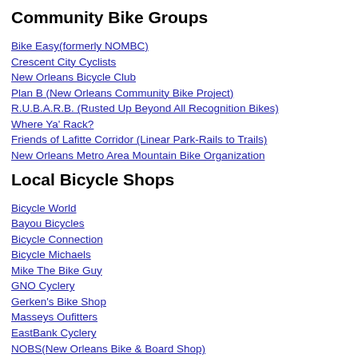Community Bike Groups
Bike Easy(formerly NOMBC)
Crescent City Cyclists
New Orleans Bicycle Club
Plan B (New Orleans Community Bike Project)
R.U.B.A.R.B. (Rusted Up Beyond All Recognition Bikes)
Where Ya' Rack?
Friends of Lafitte Corridor (Linear Park-Rails to Trails)
New Orleans Metro Area Mountain Bike Organization
Local Bicycle Shops
Bicycle World
Bayou Bicycles
Bicycle Connection
Bicycle Michaels
Mike The Bike Guy
GNO Cyclery
Gerken's Bike Shop
Masseys Oufitters
EastBank Cyclery
NOBS(New Orleans Bike & Board Shop)
nolaBIKES (Mobile Bike Repair)
Custom Cycle Works